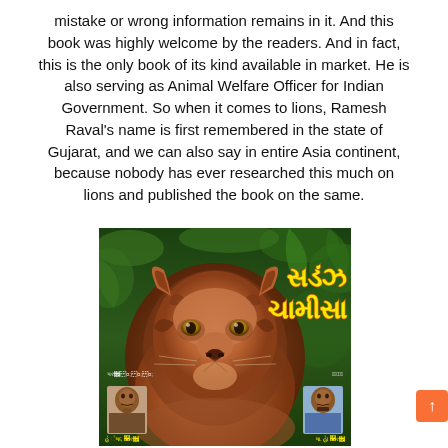mistake or wrong information remains in it. And this book was highly welcome by the readers. And in fact, this is the only book of its kind available in market. He is also serving as Animal Welfare Officer for Indian Government. So when it comes to lions, Ramesh Raval's name is first remembered in the state of Gujarat, and we can also say in entire Asia continent, because nobody has ever researched this much on lions and published the book on the same.
[Figure (photo): Book cover of 'Sinh Chalisa' (Singh Chalisa) - a Gujarati book about lions. Shows a large lion's face in the center, with green jungle background. Yellow Gujarati text on the right side reads the title. Two small portrait photos at the bottom corners (publisher on left, author on right).]